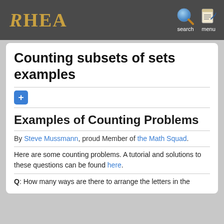RHEA  search  menu
Counting subsets of sets examples
Examples of Counting Problems
By Steve Mussmann, proud Member of the Math Squad.
Here are some counting problems. A tutorial and solutions to these questions can be found here.
Q: How many ways are there to arrange the letters in the